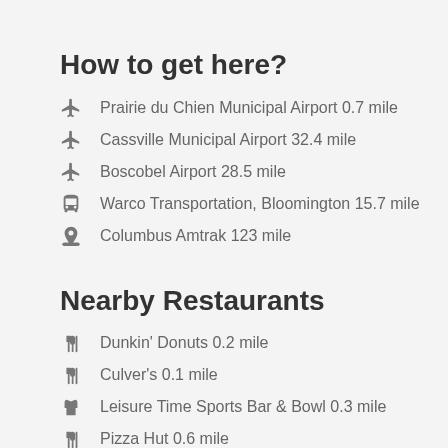How to get here?
Prairie du Chien Municipal Airport 0.7 mile
Cassville Municipal Airport 32.4 mile
Boscobel Airport 28.5 mile
Warco Transportation, Bloomington 15.7 mile
Columbus Amtrak 123 mile
Nearby Restaurants
Dunkin' Donuts 0.2 mile
Culver's 0.1 mile
Leisure Time Sports Bar & Bowl 0.3 mile
Pizza Hut 0.6 mile
Dairy Queen Grill & Chill 0.8 mile